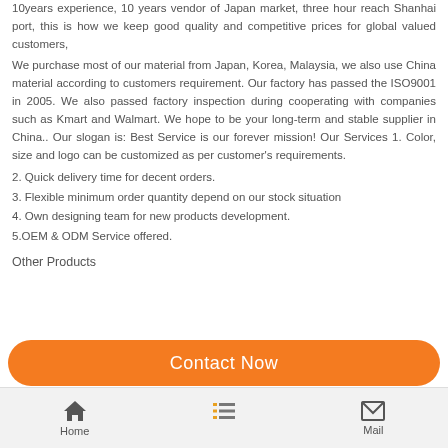10years experience, 10 years vendor of Japan market, three hour reach Shanhai port, this is how we keep good quality and competitive prices for global valued customers,
We purchase most of our material from Japan, Korea, Malaysia, we also use China material according to customers requirement. Our factory has passed the ISO9001 in 2005. We also passed factory inspection during cooperating with companies such as Kmart and Walmart. We hope to be your long-term and stable supplier in China.. Our slogan is: Best Service is our forever mission! Our Services 1. Color, size and logo can be customized as per customer's requirements.
2. Quick delivery time for decent orders.
3. Flexible minimum order quantity depend on our stock situation
4. Own designing team for new products development.
5.OEM & ODM Service offered.
Other Products
Contact Now
Home  Mail